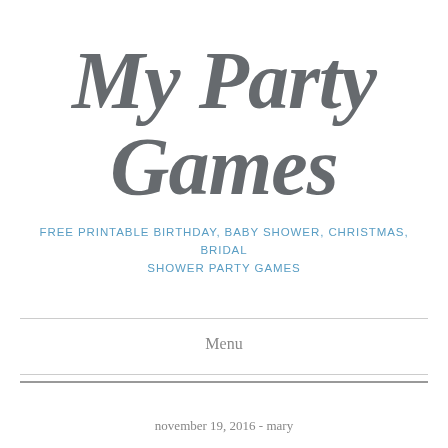My Party Games
FREE PRINTABLE BIRTHDAY, BABY SHOWER, CHRISTMAS, BRIDAL SHOWER PARTY GAMES
Menu
november 19, 2016 - mary